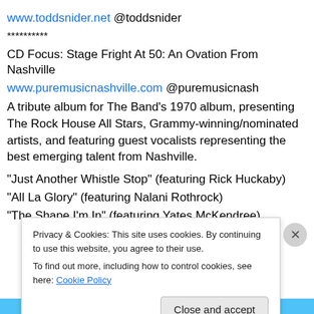www.toddsnider.net @toddsnider
**********
CD Focus: Stage Fright At 50: An Ovation From Nashville
www.puremusicnashville.com @puremusicnash
A tribute album for The Band's 1970 album, presenting The Rock House All Stars, Grammy-winning/nominated artists, and featuring guest vocalists representing the best emerging talent from Nashville.
“Just Another Whistle Stop” (featuring Rick Huckaby)
“All La Glory” (featuring Nalani Rothrock)
“The Shape I’m In” (featuring Yates McKendree)
Privacy & Cookies: This site uses cookies. By continuing to use this website, you agree to their use. To find out more, including how to control cookies, see here: Cookie Policy